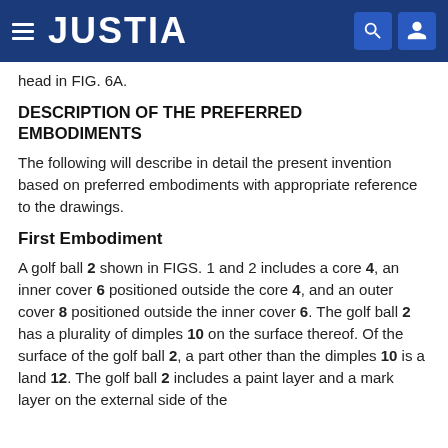JUSTIA
head in FIG. 6A.
DESCRIPTION OF THE PREFERRED EMBODIMENTS
The following will describe in detail the present invention based on preferred embodiments with appropriate reference to the drawings.
First Embodiment
A golf ball 2 shown in FIGS. 1 and 2 includes a core 4, an inner cover 6 positioned outside the core 4, and an outer cover 8 positioned outside the inner cover 6. The golf ball 2 has a plurality of dimples 10 on the surface thereof. Of the surface of the golf ball 2, a part other than the dimples 10 is a land 12. The golf ball 2 includes a paint layer and a mark layer on the external side of the